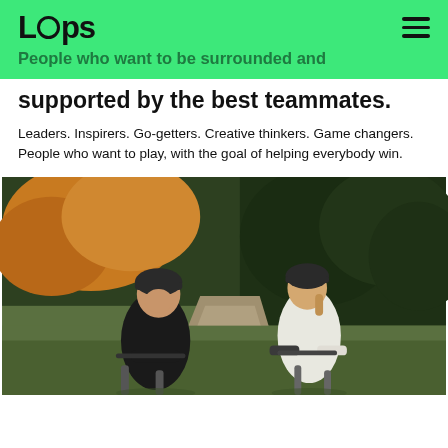Lcps
People who want to be surrounded and supported by the best teammates.
supported by the best teammates.
Leaders. Inspirers. Go-getters. Creative thinkers. Game changers. People who want to play, with the goal of helping everybody win.
[Figure (photo): Two cyclists wearing helmets on a tree-lined path, one male facing forward smiling, one female facing away in a white vest, both on road bikes in an autumnal outdoor setting.]